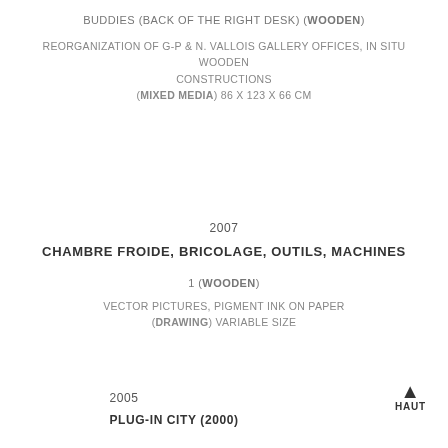BUDDIES (BACK OF THE RIGHT DESK) (WOODEN)
REORGANIZATION OF G-P & N. VALLOIS GALLERY OFFICES, IN SITU WOODEN CONSTRUCTIONS (MIXED MEDIA) 86 X 123 X 66 CM
2007
CHAMBRE FROIDE, BRICOLAGE, OUTILS, MACHINES
1 (WOODEN)
VECTOR PICTURES, PIGMENT INK ON PAPER (DRAWING) VARIABLE SIZE
2005
PLUG-IN CITY (2000)
HAUT